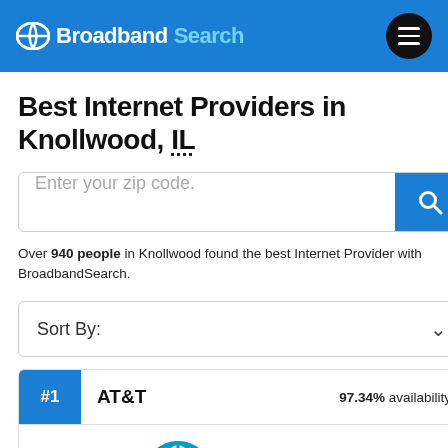Broadband Search
Best Internet Providers in Knollwood, IL
Enter your zip code.
Over 940 people in Knollwood found the best Internet Provider with BroadbandSearch.
Sort By:
#1  AT&T  97.34% availability